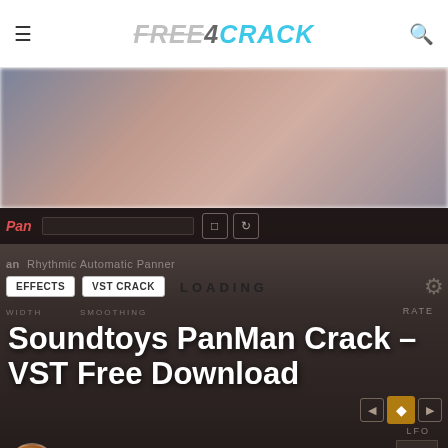FREE4CRACK
[Figure (screenshot): Soundtoys PanMan VST plugin interface screenshot, blurred background showing plugin controls for rhythmic automatic panner]
EFFECTS
VST CRACK
LOADING
Soundtoys PanMan Crack – VST Free Download
Amy Patterson • February 28, 2021